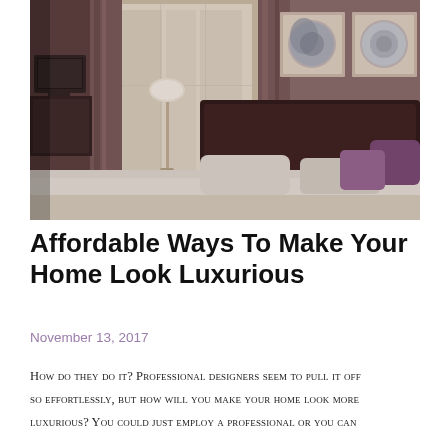[Figure (photo): Interior photo of a hotel-style bedroom with a large bed with white linens and purple pillows, brown curtains by a window, a small TV on a stand to the left, a floor lamp, a nightstand lamp, and two framed circular artworks on the taupe/mauve wall above the headboard.]
Affordable Ways To Make Your Home Look Luxurious
November 13, 2017
How do they do it? Professional designers seem to pull it off so effortlessly, but how will you make your home look more luxurious? You could just employ a professional or you can